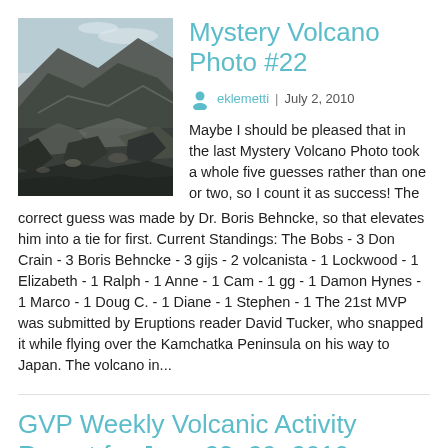[Figure (photo): Photograph of a volcanic landscape showing a rocky crater rim and dark volcanic rock terrain under a hazy sky]
Mystery Volcano Photo #22
eklemetti | July 2, 2010
Maybe I should be pleased that in the last Mystery Volcano Photo took a whole five guesses rather than one or two, so I count it as success! The correct guess was made by Dr. Boris Behncke, so that elevates him into a tie for first. Current Standings: The Bobs - 3 Don Crain - 3 Boris Behncke - 3 gijs - 2 volcanista - 1 Lockwood - 1 Elizabeth - 1 Ralph - 1 Anne - 1 Cam - 1 gg - 1 Damon Hynes - 1 Marco - 1 Doug C. - 1 Diane - 1 Stephen - 1 The 21st MVP was submitted by Eruptions reader David Tucker, who snapped it while flying over the Kamchatka Peninsula on his way to Japan. The volcano in...
GVP Weekly Volcanic Activity Report for June 23–29, 2010